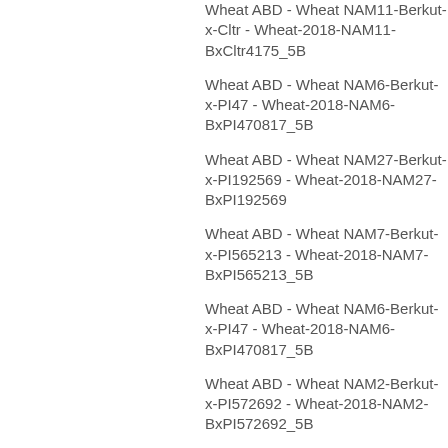Wheat ABD - Wheat NAM11-Berkut-x-Cltr - Wheat-2018-NAM11-BxCltr4175_5B
Wheat ABD - Wheat NAM6-Berkut-x-PI470817 - Wheat-2018-NAM6-BxPI470817_5B
Wheat ABD - Wheat NAM27-Berkut-x-PI192569 - Wheat-2018-NAM27-BxPI192569
Wheat ABD - Wheat NAM7-Berkut-x-PI565213 - Wheat-2018-NAM7-BxPI565213_5B
Wheat ABD - Wheat NAM6-Berkut-x-PI470817 - Wheat-2018-NAM6-BxPI470817_5B
Wheat ABD - Wheat NAM2-Berkut-x-PI572692 - Wheat-2018-NAM2-BxPI572692_5B
Wheat ABD - Wheat NAM13-Berkut-x-PI262611 - Wheat-2...